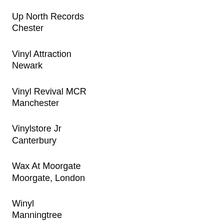Up North Records
Chester
Vinyl Attraction
Newark
Vinyl Revival MCR
Manchester
Vinylstore Jr
Canterbury
Wax At Moorgate
Moorgate, London
Winyl
Manningtree